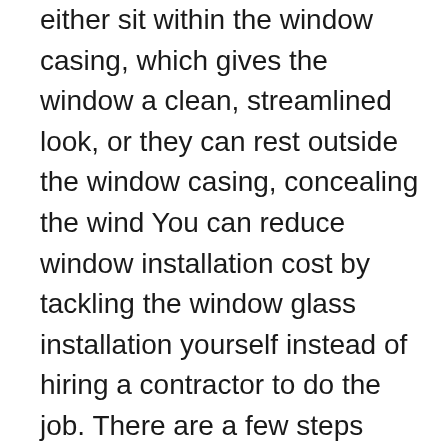either sit within the window casing, which gives the window a clean, streamlined look, or they can rest outside the window casing, concealing the wind You can reduce window installation cost by tackling the window glass installation yourself instead of hiring a contractor to do the job. There are a few steps involved in installing a window, starting with removing the old window, and then Windows are both a practical item and a beautiful addition to any home. You can let light in and bring a little bit of the outdoors into your house. Like any feature of your home, windows can and will wear out, and you'll need to replace th Windows 10 | Windows Central www.windowscentral.com/windows-10 While it's tempting to dive in when Microsoft offers you the free upgrade to Windows 10, if you've not yet done so, it's worth paying attention to what's changed